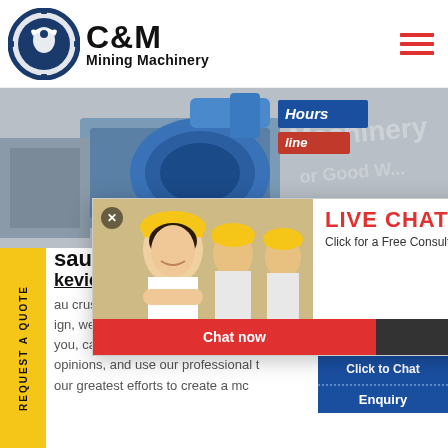[Figure (logo): C&M Mining Machinery logo with eagle in gear circle]
C&M Mining Machinery
[Figure (photo): Industrial machinery/equipment banner photo with blue motor]
[Figure (screenshot): Live chat popup overlay with workers in yellow helmets, Chat now and Chat later buttons]
[Figure (photo): Chat agent woman with headset on right side widget with Click to Chat button]
REQUEST A QUOTE
Hours
line
LIVE CHAT
Click for a Free Consultation
Chat now
Chat later
sau cr
keviewlodge.co.za
au crusher plastik For each proj
ign, we will use professional kno
you, carefully listen to your demand
opinions, and use our professional t
our greatest efforts to create a mc
Click to Chat
Enquiry